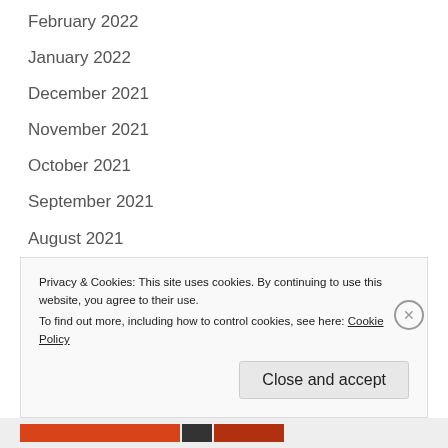February 2022
January 2022
December 2021
November 2021
October 2021
September 2021
August 2021
July 2021
June 2021
May 2021
April 2021
March 2021
Privacy & Cookies: This site uses cookies. By continuing to use this website, you agree to their use.
To find out more, including how to control cookies, see here: Cookie Policy